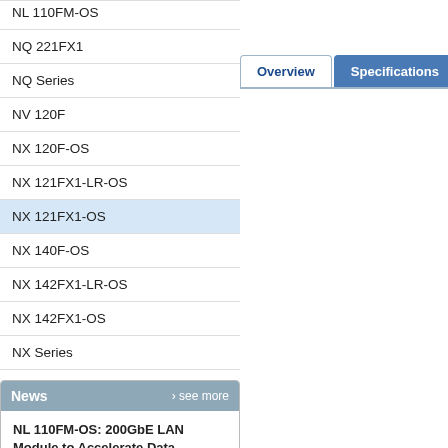NL 110FM-OS
NQ 221FX1
NQ Series
NV 120F
NX 120F-OS
NX 121FX1-LR-OS
NX 121FX1-OS
NX 140F-OS
NX 142FX1-LR-OS
NX 142FX1-OS
NX Series
News
NL 110FM-OS: 200GbE LAN Module to Accelerate Data Throughput
NEXCOM developed the NL 110FM-OS 200GbE LAN module...
NEXCOM Accelerates Data Throughput with NVIDIA SmartNIC Silicon Enabled
In response to rising demand for
[Figure (screenshot): Tab navigation showing Overview (white/active) and Specifications (blue) tabs]